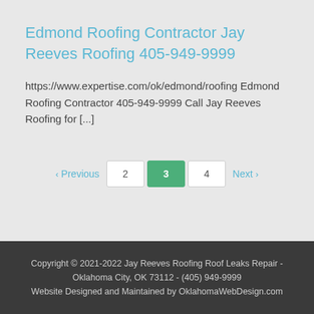Edmond Roofing Contractor Jay Reeves Roofing 405-949-9999
https://www.expertise.com/ok/edmond/roofing Edmond Roofing Contractor 405-949-9999 Call Jay Reeves Roofing for [...]
Previous 2 3 4 Next
Copyright © 2021-2022 Jay Reeves Roofing Roof Leaks Repair - Oklahoma City, OK 73112 - (405) 949-9999
Website Designed and Maintained by OklahomaWebDesign.com